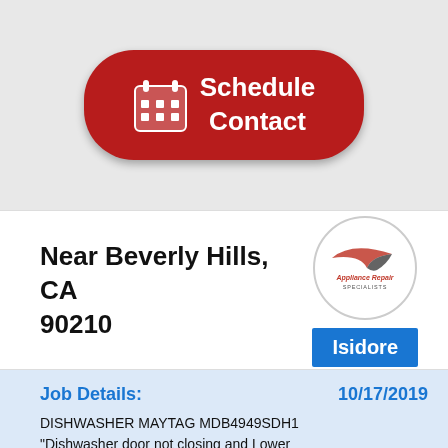[Figure (other): Red rounded button with calendar icon and text 'Schedule Contact']
Near Beverly Hills, CA 90210
[Figure (logo): Appliance Repair Specialists logo in circular border, with bird/swish graphic]
Isidore
Job Details:
10/17/2019
DISHWASHER MAYTAG MDB4949SDH1 "Dishwasher door not closing and Lower rack wheel assembly came off, melted, installed new lower rack wheel assembly. Found door came off hinge bracket left side,